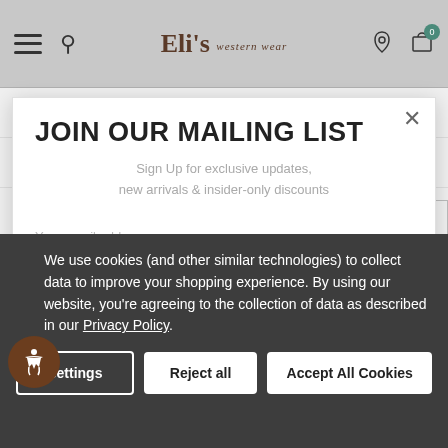Eli's western wear
CUSTOMER REVIEW
SHIPPING & RETURNS
JOIN OUR MAILING LIST
Sign Up for exclusive updates, new arrivals & insider-only discounts
Your email address
SUBMIT
RELATED PRODUCTS
We use cookies (and other similar technologies) to collect data to improve your shopping experience. By using our website, you're agreeing to the collection of data as described in our Privacy Policy.
Settings  Reject all  Accept All Cookies